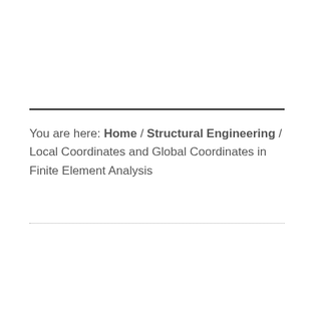You are here: Home / Structural Engineering / Local Coordinates and Global Coordinates in Finite Element Analysis